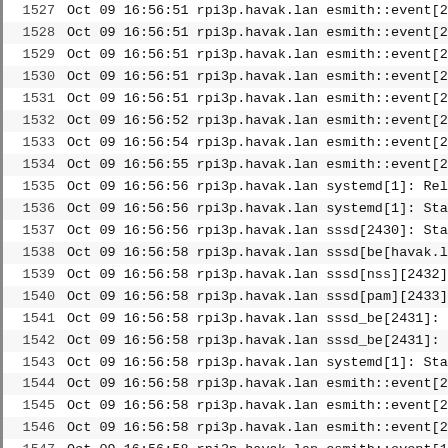| line | date | time | host | process |
| --- | --- | --- | --- | --- |
| 1527 | Oct 09 | 16:56:51 | rpi3p.havak.lan | esmith::event[223 |
| 1528 | Oct 09 | 16:56:51 | rpi3p.havak.lan | esmith::event[223 |
| 1529 | Oct 09 | 16:56:51 | rpi3p.havak.lan | esmith::event[223 |
| 1530 | Oct 09 | 16:56:51 | rpi3p.havak.lan | esmith::event[223 |
| 1531 | Oct 09 | 16:56:51 | rpi3p.havak.lan | esmith::event[223 |
| 1532 | Oct 09 | 16:56:52 | rpi3p.havak.lan | esmith::event[223 |
| 1533 | Oct 09 | 16:56:54 | rpi3p.havak.lan | esmith::event[223 |
| 1534 | Oct 09 | 16:56:55 | rpi3p.havak.lan | esmith::event[223 |
| 1535 | Oct 09 | 16:56:56 | rpi3p.havak.lan | systemd[1]: Reloa |
| 1536 | Oct 09 | 16:56:56 | rpi3p.havak.lan | systemd[1]: Start |
| 1537 | Oct 09 | 16:56:56 | rpi3p.havak.lan | sssd[2430]: Start |
| 1538 | Oct 09 | 16:56:58 | rpi3p.havak.lan | sssd[be[havak.lan |
| 1539 | Oct 09 | 16:56:58 | rpi3p.havak.lan | sssd[nss][2432]:  |
| 1540 | Oct 09 | 16:56:58 | rpi3p.havak.lan | sssd[pam][2433]:  |
| 1541 | Oct 09 | 16:56:58 | rpi3p.havak.lan | sssd_be[2431]: GS |
| 1542 | Oct 09 | 16:56:58 | rpi3p.havak.lan | sssd_be[2431]: GS |
| 1543 | Oct 09 | 16:56:58 | rpi3p.havak.lan | systemd[1]: Start |
| 1544 | Oct 09 | 16:56:58 | rpi3p.havak.lan | esmith::event[223 |
| 1545 | Oct 09 | 16:56:58 | rpi3p.havak.lan | esmith::event[223 |
| 1546 | Oct 09 | 16:56:58 | rpi3p.havak.lan | esmith::event[223 |
| 1547 | Oct 09 | 16:56:58 | rpi3p.havak.lan | esmith::event[156 |
| 1548 | Oct 09 | 16:56:58 | rpi3p.havak.lan | sssd_be[2431]: GS |
| 1549 | Oct 09 | 16:56:58 | rpi3p.havak.lan | sssd_be[2431]: GS |